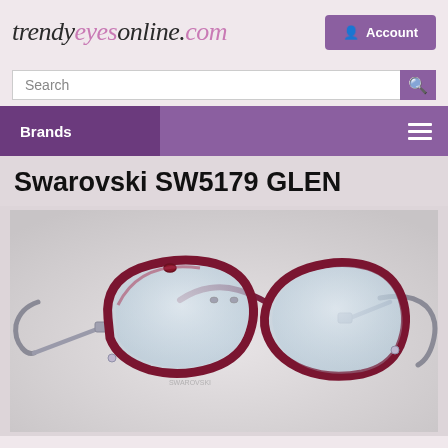trendyeyesonline.com
Account
Search
Brands
Swarovski SW5179 GLEN
[Figure (photo): A pair of Swarovski SW5179 GLEN eyeglasses with dark red/burgundy frames and silver metal temples, photographed at a slight angle on a light gray background.]